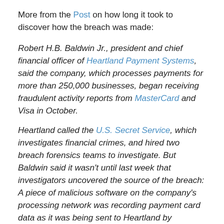More from the Post on how long it took to discover how the breach was made:
Robert H.B. Baldwin Jr., president and chief financial officer of Heartland Payment Systems, said the company, which processes payments for more than 250,000 businesses, began receiving fraudulent activity reports from MasterCard and Visa in October.
Heartland called the U.S. Secret Service, which investigates financial crimes, and hired two breach forensics teams to investigate. But Baldwin said it wasn't until last week that investigators uncovered the source of the breach: A piece of malicious software on the company's processing network was recording payment card data as it was being sent to Heartland by thousands of the company's retail clients.